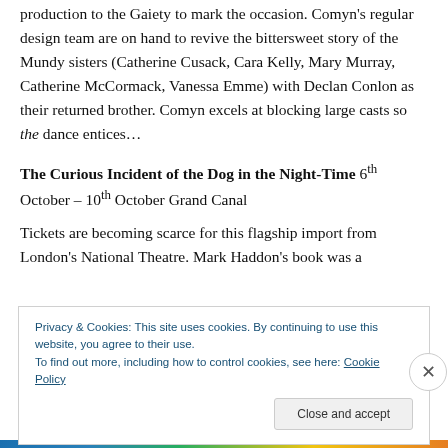production to the Gaiety to mark the occasion. Comyn's regular design team are on hand to revive the bittersweet story of the Mundy sisters (Catherine Cusack, Cara Kelly, Mary Murray, Catherine McCormack, Vanessa Emme) with Declan Conlon as their returned brother. Comyn excels at blocking large casts so the dance entices…
The Curious Incident of the Dog in the Night-Time 6th October – 10th October Grand Canal
Tickets are becoming scarce for this flagship import from London's National Theatre. Mark Haddon's book was a
Privacy & Cookies: This site uses cookies. By continuing to use this website, you agree to their use.
To find out more, including how to control cookies, see here: Cookie Policy